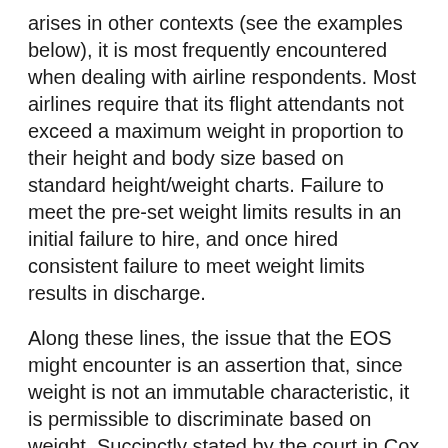arises in other contexts (see the examples below), it is most frequently encountered when dealing with airline respondents.  Most airlines require that its flight attendants not exceed a maximum weight in proportion to their height and body size based on standard height/weight charts.  Failure to meet the pre-set weight limits results in an initial failure to hire, and once hired consistent failure to meet weight limits results in discharge.
Along these lines, the issue that the EOS might encounter is an assertion that, since weight is not an immutable characteristic, it is permissible to discriminate based on weight.  Succinctly stated by the court in Cox v. Delta Air Lines, 14 EPD ¶ 7600 (S.D. Fla. 1976), aff'd, 14 EPD ¶ 7601 (5th Cir. 1976), "...under no set of facts can plaintiff recover on the legal theory she urges...because weight is neither an immutable characteristic nor a constitutionally